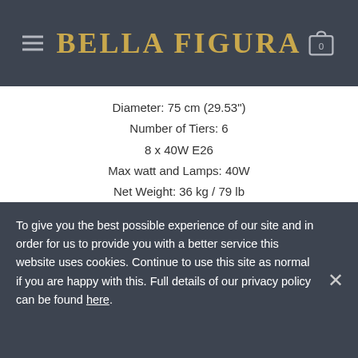BELLA FIGURA
Diameter: 75 cm (29.53")
Number of Tiers: 6
8 x 40W E26
Max watt and Lamps: 40W
Net Weight: 36 kg / 79 lb
Size Four
CL125-90
Height: 39.5 cm (15.55")
To give you the best possible experience of our site and in order for us to provide you with a better service this website uses cookies. Continue to use this site as normal if you are happy with this. Full details of our privacy policy can be found here.